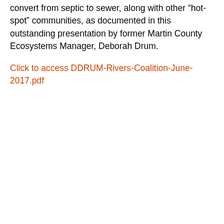convert from septic to sewer, along with other “hot-spot” communities, as documented in this outstanding presentation by former Martin County Ecosystems Manager, Deborah Drum.
Click to access DDRUM-Rivers-Coalition-June-2017.pdf